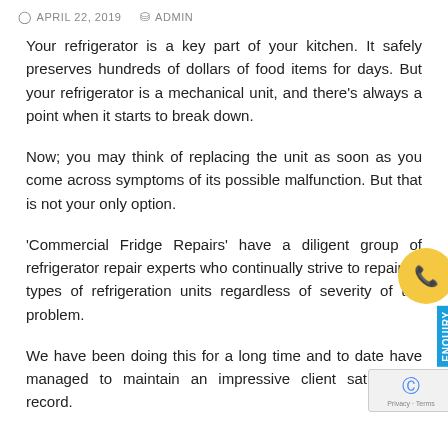APRIL 22, 2019  ADMIN
Your refrigerator is a key part of your kitchen. It safely preserves hundreds of dollars of food items for days. But your refrigerator is a mechanical unit, and there's always a point when it starts to break down.
Now; you may think of replacing the unit as soon as you come across symptoms of its possible malfunction. But that is not your only option.
'Commercial Fridge Repairs' have a diligent group of refrigerator repair experts who continually strive to repair all types of refrigeration units regardless of severity of the problem.
We have been doing this for a long time and to date have managed to maintain an impressive client satisfaction record.